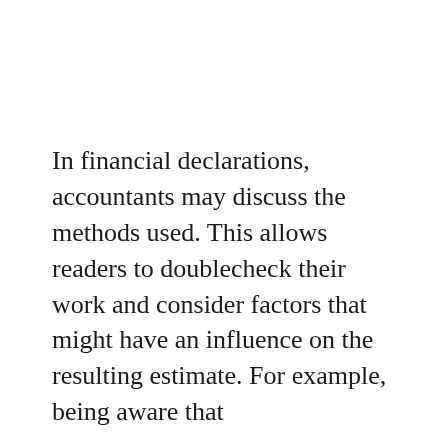In financial declarations, accountants may discuss the methods used. This allows readers to doublecheck their work and consider factors that might have an influence on the resulting estimate. For example, being aware that